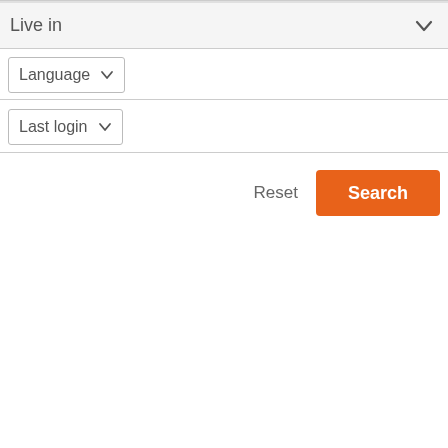Live in
Language
Last login
Reset
Search